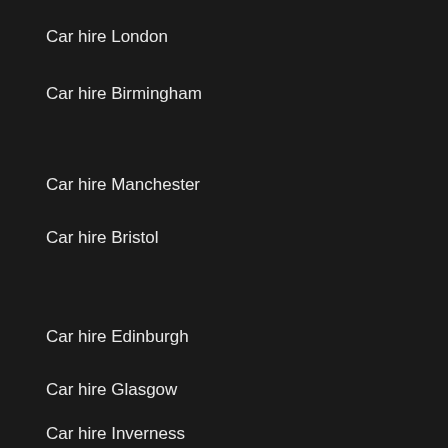Car hire London
Car hire Birmingham
Car hire Manchester
Car hire Bristol
Car hire Edinburgh
Car hire Glasgow
Car hire Inverness